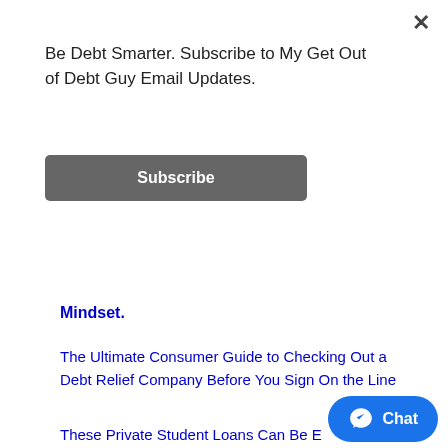Be Debt Smarter. Subscribe to My Get Out of Debt Guy Email Updates.
Subscribe
Mindset.
The Ultimate Consumer Guide to Checking Out a Debt Relief Company Before You Sign On the Line
These Private Student Loans Can Be Easily Discharged in Bankruptcy
Chat